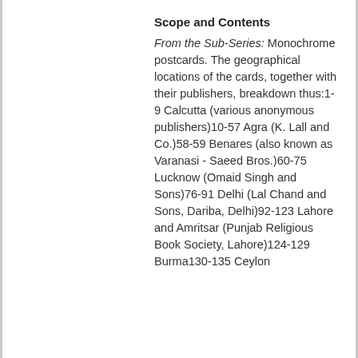Scope and Contents
From the Sub-Series: Monochrome postcards. The geographical locations of the cards, together with their publishers, breakdown thus:1-9 Calcutta (various anonymous publishers)10-57 Agra (K. Lall and Co.)58-59 Benares (also known as Varanasi - Saeed Bros.)60-75 Lucknow (Omaid Singh and Sons)76-91 Delhi (Lal Chand and Sons, Dariba, Delhi)92-123 Lahore and Amritsar (Punjab Religious Book Society, Lahore)124-129 Burma130-135 Ceylon